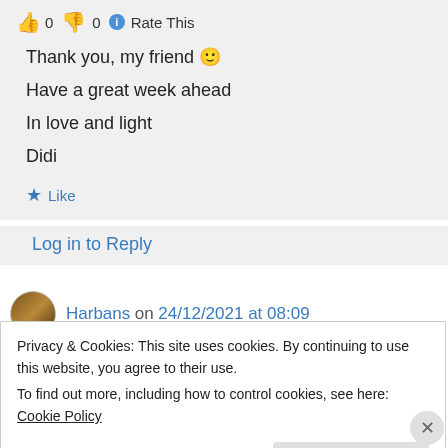👍 0 👎 0 ℹ Rate This
Thank you, my friend 🙂
Have a great week ahead
In love and light
Didi
★ Like
Log in to Reply
Harbans on 24/12/2021 at 08:09
Privacy & Cookies: This site uses cookies. By continuing to use this website, you agree to their use.
To find out more, including how to control cookies, see here: Cookie Policy
Close and accept